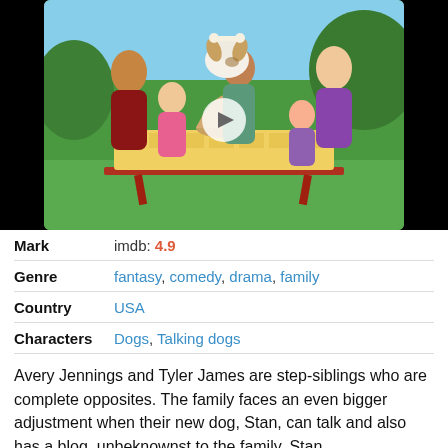[Figure (photo): Promotional photo of a family TV show cast — two adults, three children, and a dog holding a bone in its mouth, seated around a picnic table with a yellow checkered tablecloth outdoors on a grassy background. A play button overlay is visible in the center.]
| Mark | imdb: 4.9 |
| Genre | fantasy, comedy, drama, family |
| Country | USA |
| Characters | Dogs, Talking dogs |
Avery Jennings and Tyler James are step-siblings who are complete opposites. The family faces an even bigger adjustment when their new dog, Stan, can talk and also has a blog, unbeknownst to the family. Stan